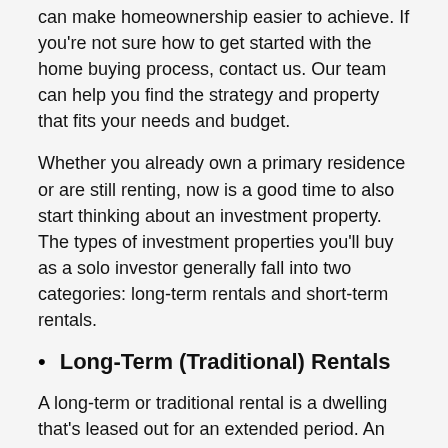can make homeownership easier to achieve. If you're not sure how to get started with the home buying process, contact us. Our team can help you find the strategy and property that fits your needs and budget.
Whether you already own a primary residence or are still renting, now is a good time to also start thinking about an investment property. The types of investment properties you'll buy as a solo investor generally fall into two categories: long-term rentals and short-term rentals.
Long-Term (Traditional) Rentals
A long-term or traditional rental is a dwelling that's leased out for an extended period. An example of this is a single-family home where a tenant signs a one-year lease and brings all their own furniture.
Long-term rentals are a form of housing. For most